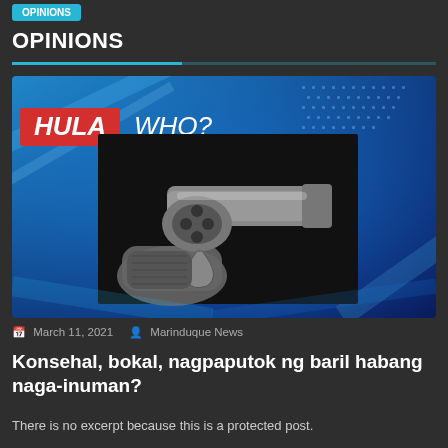OPINIONS
[Figure (photo): News thumbnail with blue abstract background, 'HULA WHO?' text overlay in red and white, and a black-and-white photo of hands holding a revolver pistol.]
March 11, 2021   Marinduque News
Konsehal, bokal, nagpaputok ng baril habang naga-inuman?
There is no excerpt because this is a protected post.